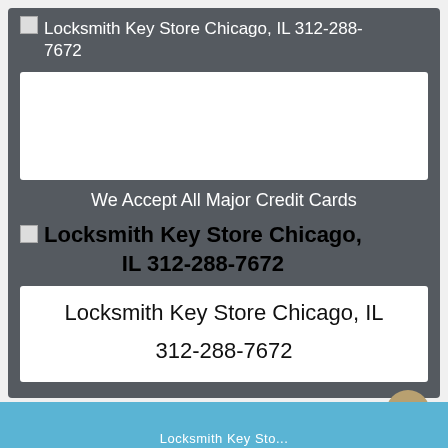Locksmith Key Store Chicago, IL 312-288-7672
[Figure (other): White rectangular image placeholder box]
We Accept All Major Credit Cards
Locksmith Key Store Chicago, IL 312-288-7672
Locksmith Key Store Chicago, IL
312-288-7672
Locksmith Key Sto...